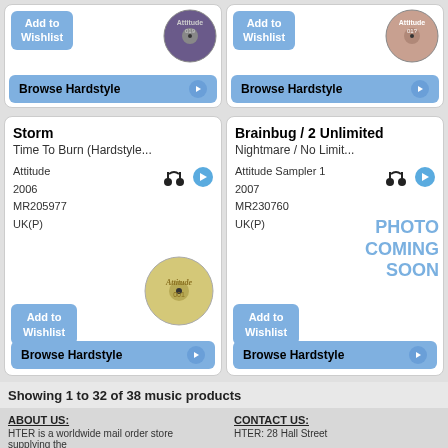[Figure (screenshot): Top left product card: Add to Wishlist button, vinyl record image with Attitude label, Browse Hardstyle button]
[Figure (screenshot): Top right product card: Add to Wishlist button, vinyl record image with Attitude label, Browse Hardstyle button]
Storm
Time To Burn (Hardstyle...
Attitude
2006
MR205977
UK(P)
[Figure (photo): Vinyl record with Attitude label for Storm]
Brainbug / 2 Unlimited
Nightmare / No Limit...
Attitude Sampler 1
2007
MR230760
UK(P)
[Figure (photo): PHOTO COMING SOON placeholder for Brainbug / 2 Unlimited]
Showing 1 to 32 of 38 music products
Previous  1  2  Next
ABOUT US:
HTER is a worldwide mail order store supplying the
CONTACT US:
HTER: 28 Hall Street